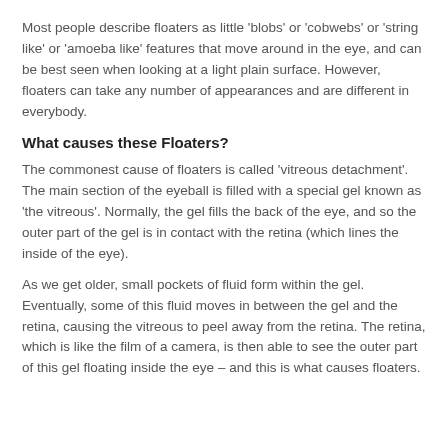Most people describe floaters as little 'blobs' or 'cobwebs' or 'string like' or 'amoeba like' features that move around in the eye, and can be best seen when looking at a light plain surface. However, floaters can take any number of appearances and are different in everybody.
What causes these Floaters?
The commonest cause of floaters is called 'vitreous detachment'. The main section of the eyeball is filled with a special gel known as 'the vitreous'. Normally, the gel fills the back of the eye, and so the outer part of the gel is in contact with the retina (which lines the inside of the eye).
As we get older, small pockets of fluid form within the gel. Eventually, some of this fluid moves in between the gel and the retina, causing the vitreous to peel away from the retina. The retina, which is like the film of a camera, is then able to see the outer part of this gel floating inside the eye – and this is what causes floaters.